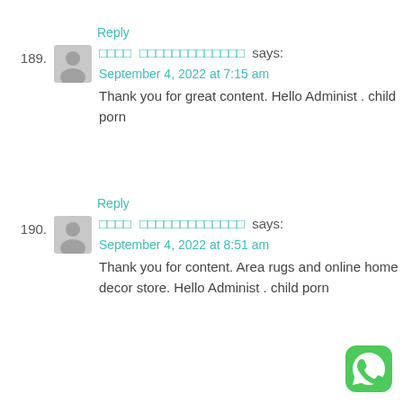Reply
189. □□□□ □□□□□□□□□□□□□ says:
September 4, 2022 at 7:15 am
Thank you for great content. Hello Administ . child porn
Reply
190. □□□□ □□□□□□□□□□□□□ says:
September 4, 2022 at 8:51 am
Thank you for content. Area rugs and online home decor store. Hello Administ . child porn
[Figure (logo): WhatsApp green logo icon in bottom right corner]